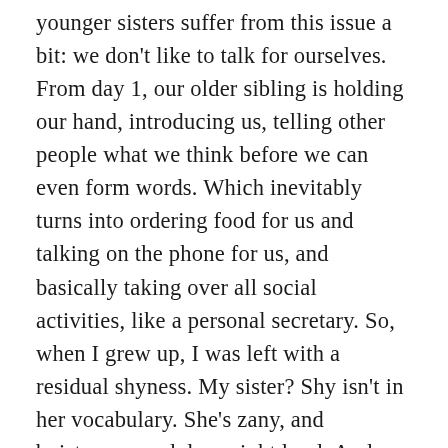younger sisters suffer from this issue a bit: we don't like to talk for ourselves. From day 1, our older sibling is holding our hand, introducing us, telling other people what we think before we can even form words. Which inevitably turns into ordering food for us and talking on the phone for us, and basically taking over all social activities, like a personal secretary. So, when I grew up, I was left with a residual shyness. My sister? Shy isn't in her vocabulary. She's zany, and boisterous, and downright loud. And while most days I appreciate that I am the ying to her yang, I have to say that I admire her energy. It makes me feel like I should do more to make my presence known in this world, let alone a single room.